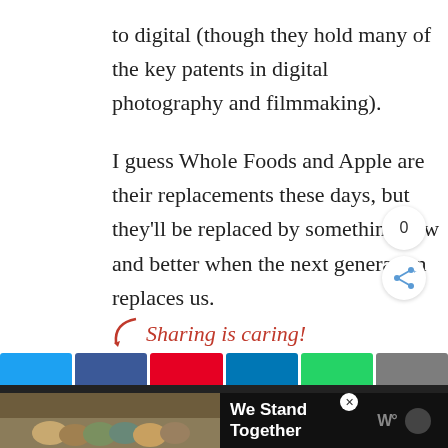to digital (though they hold many of the key patents in digital photography and filmmaking).
I guess Whole Foods and Apple are their replacements these days, but they'll be replaced by something new and better when the next generation replaces us.
[Figure (infographic): Sharing is caring! text with decorative arrow in red italic font, followed by social sharing buttons (Twitter, Facebook, Pinterest, LinkedIn, WhatsApp, More) and a share count badge showing 0]
[Figure (photo): Advertisement banner showing group of people from behind with arms around each other. Text reads 'We Stand Together' in white bold font. Dark bar with WordPress icon and circle icon on right.]